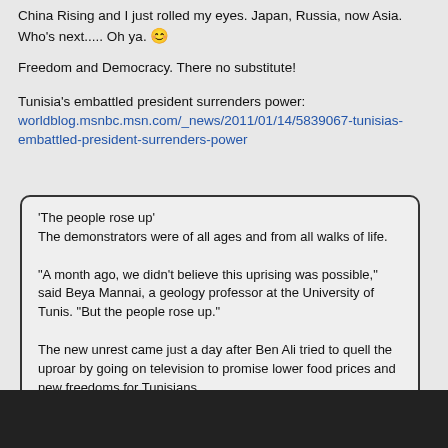China Rising and I just rolled my eyes. Japan, Russia, now Asia. Who's next..... Oh ya. 🙂
Freedom and Democracy. There no substitute!
Tunisia's embattled president surrenders power: worldblog.msnbc.msn.com/_news/2011/01/14/5839067-tunisias-embattled-president-surrenders-power
'The people rose up'
The demonstrators were of all ages and from all walks of life.

"A month ago, we didn't believe this uprising was possible," said Beya Mannai, a geology professor at the University of Tunis. "But the people rose up."

The new unrest came just a day after Ben Ali tried to quell the uproar by going on television to promise lower food prices and new freedoms for Tunisians.

--------------------------------------------------------------------------------